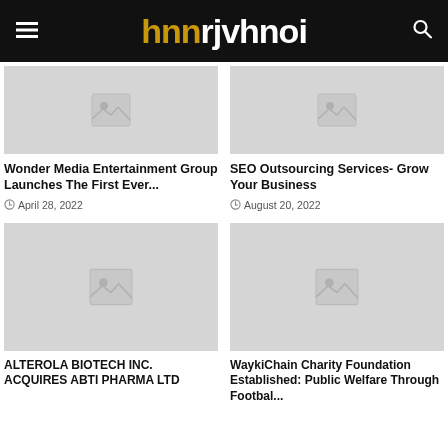hnni rjuhnoi
[Figure (photo): Placeholder image thumbnail for Wonder Media article]
[Figure (photo): Placeholder image thumbnail for SEO Outsourcing article]
Wonder Media Entertainment Group Launches The First Ever...
April 28, 2022
SEO Outsourcing Services- Grow Your Business
August 20, 2022
[Figure (photo): Placeholder image thumbnail for Alterola Biotech article]
[Figure (photo): Placeholder image thumbnail for WaykiChain Charity article]
ALTEROLA BIOTECH INC. ACQUIRES ABTI PHARMA LTD
WaykiChain Charity Foundation Established: Public Welfare Through Footbal...